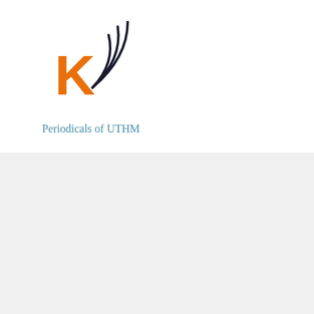[Figure (logo): UTHM Periodicals logo: orange letter K with dark blue wifi/signal waves arcing above it]
Periodicals of UTHM
©Engineering & Technology Research
e-ISSN : 2637-1154
[Figure (logo): Creative Commons BY-NC-SA license badge showing CC, person, dollar-sign, and share-alike icons]
This Periodicals site and its metadata are licensed under a Creative Commons Attribution-NonCommercial-ShareAlike 4.0 International License